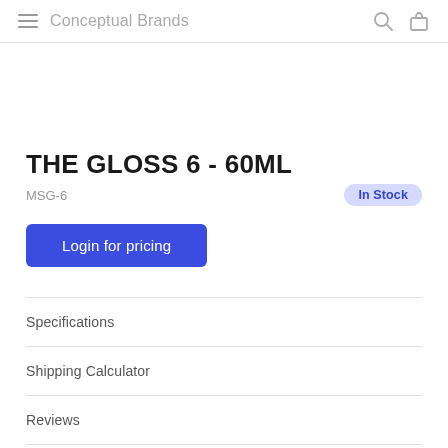Conceptual Brands
THE GLOSS 6 - 60ML
MSG-6
In Stock
Login for pricing
Specifications
Shipping Calculator
Reviews